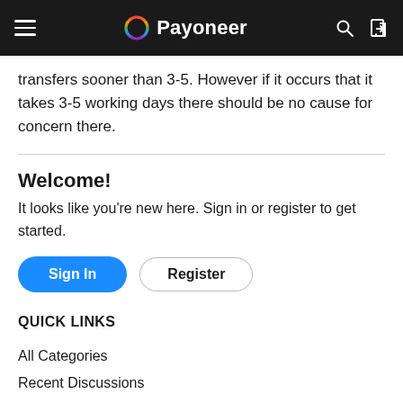Payoneer
transfers sooner than 3-5. However if it occurs that it takes 3-5 working days there should be no cause for concern there.
Welcome!
It looks like you're new here. Sign in or register to get started.
Sign In | Register
QUICK LINKS
All Categories
Recent Discussions